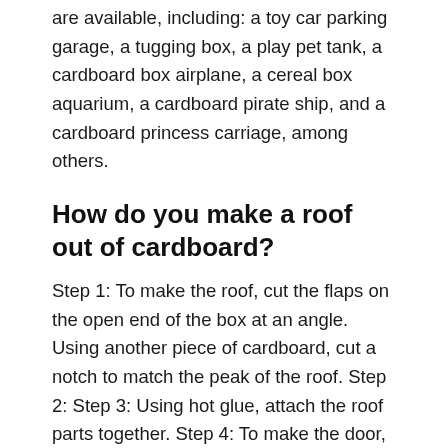are available, including: a toy car parking garage, a tugging box, a play pet tank, a cardboard box airplane, a cereal box aquarium, a cardboard pirate ship, and a cardboard princess carriage, among others.
How do you make a roof out of cardboard?
Step 1: To make the roof, cut the flaps on the open end of the box at an angle. Using another piece of cardboard, cut a notch to match the peak of the roof. Step 2: Step 3: Using hot glue, attach the roof parts together. Step 4: To make the door, cut a flap at the top of the box’s ‘front’ using a utility knife and fold it back to form a hinge.